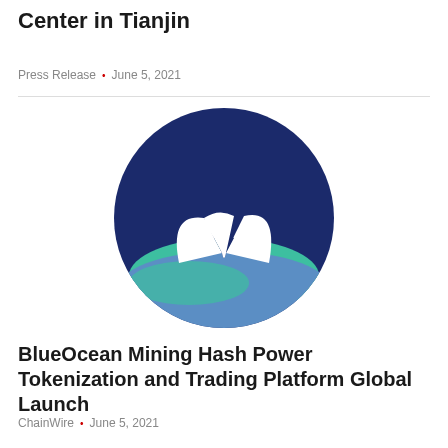Center in Tianjin
Press Release · June 5, 2021
[Figure (logo): BlueOcean logo: circular dark navy background with white whale tail fin above teal and blue wave shapes]
BlueOcean Mining Hash Power Tokenization and Trading Platform Global Launch
ChainWire · June 5, 2021